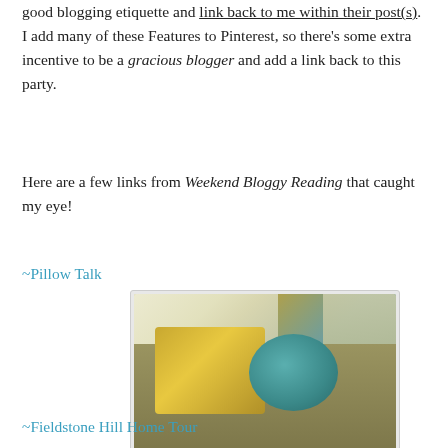good blogging etiquette and link back to me within their post(s). I add many of these Features to Pinterest, so there’s some extra incentive to be a gracious blogger and add a link back to this party.
Here are a few links from Weekend Bloggy Reading that caught my eye!
~Pillow Talk
[Figure (photo): Photo of two decorative pillows on a sofa: a rectangular yellow rosette pillow and a round teal velvet pillow, with a window and curtain in background. Watermark reads 'Everyday Emily'.]
~Fieldstone Hill Home Tour